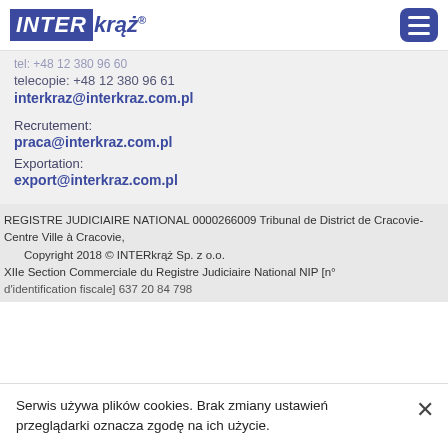[Figure (logo): INTERkrąż® company logo with blue background on INTER text and blue text for krąż, plus hamburger menu icon in blue rounded square]
tel: +48 12 380 96 60 (faded/partially visible)
telecopie: +48 12 380 96 61
interkraz@interkraz.com.pl
Recrutement:
praca@interkraz.com.pl
Exportation:
export@interkraz.com.pl
REGISTRE JUDICIAIRE NATIONAL 0000266009 Tribunal de District de Cracovie-Centre Ville à Cracovie,
Copyright 2018 © INTERkrąż Sp. z o.o.
XIIe Section Commerciale du Registre Judiciaire National NIP [n° d'identification fiscale] 637 20 84 798
Serwis używa plików cookies. Brak zmiany ustawień przeglądarki oznacza zgodę na ich użycie.